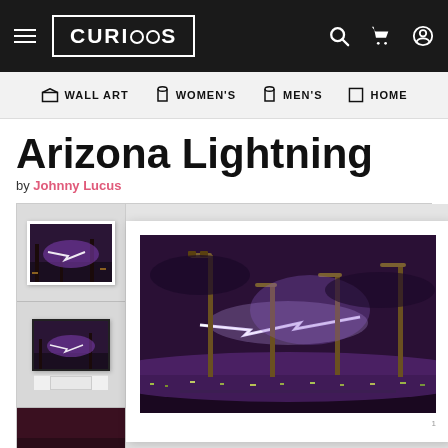CURIOOS — WALL ART  WOMEN'S  MEN'S  HOME
Arizona Lightning
by Johnny Lucus
[Figure (photo): Thumbnail 1: framed print of Arizona lightning photo — purple stormy sky with lightning bolt and industrial structures]
[Figure (photo): Thumbnail 2: framed print of Arizona lightning photo displayed on white cabinet in room context]
[Figure (photo): Thumbnail 3: partially visible dark reddish background thumbnail]
[Figure (photo): Main display: large framed art print of Arizona Lightning photograph — night scene with tall street lamp poles against a purple stormy sky illuminated by a bright horizontal lightning bolt, city lights visible at bottom]